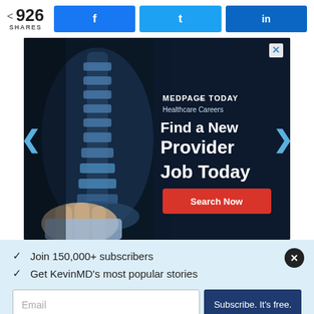926 SHARES
[Figure (screenshot): MedPageToday Healthcare Careers advertisement showing a doctor holding an X-ray with text 'Find a New Provider Job Today' and a red 'Search Now' button]
✓  Join 150,000+ subscribers
✓  Get KevinMD's most popular stories
Email — Subscribe. It's free.